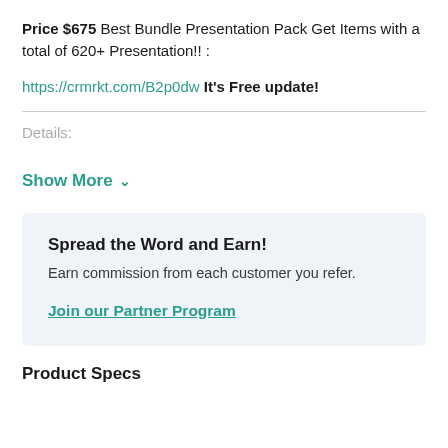Price $675 Best Bundle Presentation Pack Get Items with a total of 620+ Presentation!! :
https://crmrkt.com/B2p0dw It's Free update!
Details:
Show More ∨
Spread the Word and Earn!
Earn commission from each customer you refer.
Join our Partner Program
Product Specs